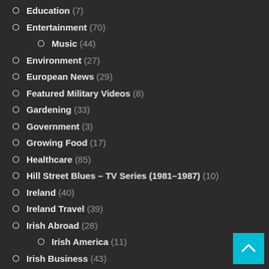Education (7)
Entertainment (70)
Music (44)
Environment (27)
European News (29)
Featured Military Videos (8)
Gardening (33)
Government (3)
Growing Food (17)
Healthcare (85)
Hill Street Blues – TV Series (1981–1987) (10)
Ireland (40)
Ireland Travel (39)
Irish Abroad (28)
Irish America (11)
Irish Business (43)
Irish Business Tips (4)
Irish Chat (124)